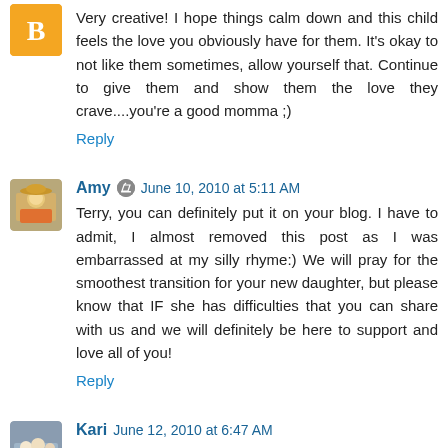Very creative! I hope things calm down and this child feels the love you obviously have for them. It's okay to not like them sometimes, allow yourself that. Continue to give them and show them the love they crave....you're a good momma ;)
Reply
Amy  June 10, 2010 at 5:11 AM
Terry, you can definitely put it on your blog. I have to admit, I almost removed this post as I was embarrassed at my silly rhyme:) We will pray for the smoothest transition for your new daughter, but please know that IF she has difficulties that you can share with us and we will definitely be here to support and love all of you!
Reply
Kari  June 12, 2010 at 6:47 AM
I am so glad that you did not erase this post. It is such a